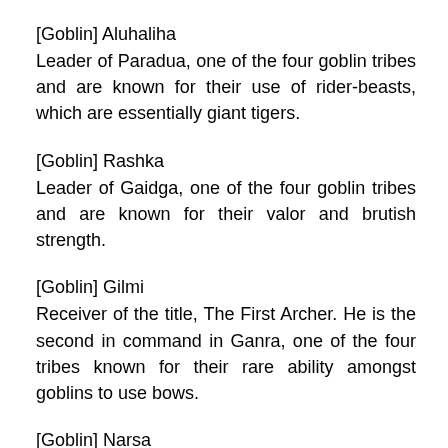[Goblin] Aluhaliha
Leader of Paradua, one of the four goblin tribes and are known for their use of rider-beasts, which are essentially giant tigers.
[Goblin] Rashka
Leader of Gaidga, one of the four goblin tribes and are known for their valor and brutish strength.
[Goblin] Gilmi
Receiver of the title, The First Archer. He is the second in command in Ganra, one of the four tribes known for their rare ability amongst goblins to use bows.
[Goblin] Narsa
The Princess of Ganra. She is the only female goblin race introduced so far.